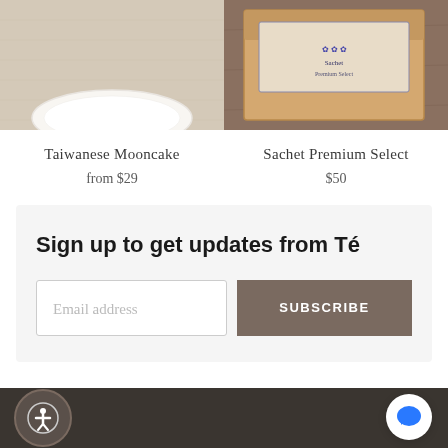[Figure (photo): Product photo of Taiwanese Mooncake — white plate visible on linen/burlap textured surface, cropped at top]
[Figure (photo): Product photo of Sachet Premium Select — kraft paper box with decorative illustrated label on wooden surface, cropped at top]
Taiwanese Mooncake
from $29
Sachet Premium Select
$50
Sign up to get updates from Té
Email address
SUBSCRIBE